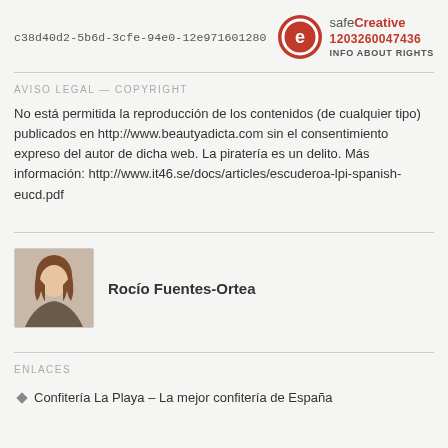c38d40d2-5b6d-3cfe-94e0-12e971601280
[Figure (logo): SafeCreative logo with red circle containing a white e/copyright symbol, text 'safeCreative', number '1203260047436', and 'INFO ABOUT RIGHTS']
AVISO LEGAL — COPYRIGHT
No está permitida la reproducción de los contenidos (de cualquier tipo) publicados en http://www.beautyadicta.com sin el consentimiento expreso del autor de dicha web. La piratería es un delito. Más información: http://www.it46.se/docs/articles/escuderoa-lpi-spanish-eucd.pdf
[Figure (photo): Portrait photo of Rocío Fuentes-Ortea, a woman with reddish-brown hair]
Rocío Fuentes-Ortea
ENLACES
Confitería La Playa – La mejor confitería de España